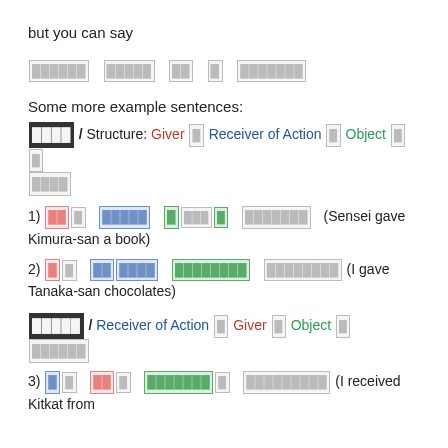but you can say
[Japanese text: boxed characters in gray]
Some more example sentences:
[Underlined JP] / Structure: Giver [box] Receiver of Action [box] Object [box] [box] [JP boxes]
1) [red JP box] [blue JP box] [green JP box] [gray JP box] (Sensei gave Kimura-san a book)
2) [red JP box] [blue JP box] [green JP box] [gray JP box] (I gave Tanaka-san chocolates)
[Underlined JP] / Receiver of Action [box] Giver [box] Object [box] [JP boxes]
3) [blue JP box] [red JP box] [green JP box] [gray JP box] (I received Kitkat from